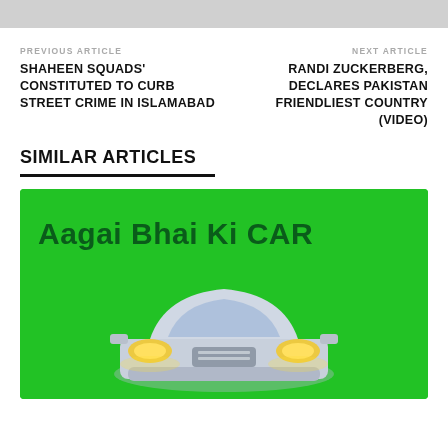PREVIOUS ARTICLE
SHAHEEN SQUADS' CONSTITUTED TO CURB STREET CRIME IN ISLAMABAD
NEXT ARTICLE
RANDI ZUCKERBERG, DECLARES PAKISTAN FRIENDLIEST COUNTRY (VIDEO)
SIMILAR ARTICLES
[Figure (photo): Green background image with text 'Aagai Bhai Ki CAR' and a silver/white car shown from front view with headlights on]